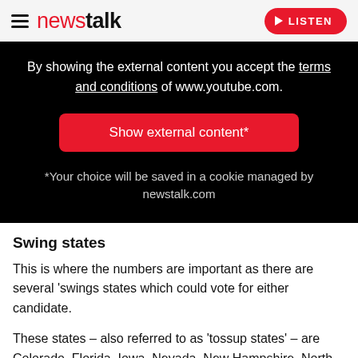newstalk | LISTEN
[Figure (screenshot): Black content blocker box with white text: 'By showing the external content you accept the terms and conditions of www.youtube.com.' Red button: 'Show external content*'. Grey text: '*Your choice will be saved in a cookie managed by newstalk.com']
Swing states
This is where the numbers are important as there are several ‘swings states which could vote for either candidate.
These states – also referred to as ‘tossup states’ – are Colorado, Florida, Iowa, Nevada, New Hampshire, North Carolina, Ohio, and Virginia.